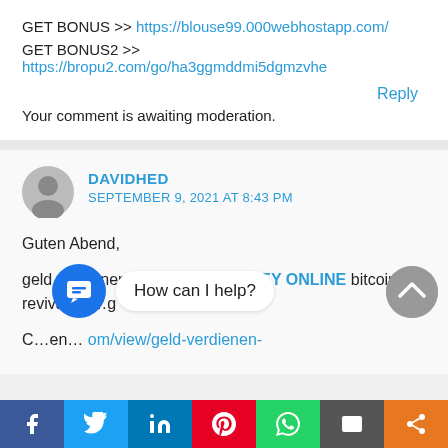GET BONUS >> https://blouse99.000webhostapp.com/
GET BONUS2 >> https://bropu2.com/go/ha3ggmddmi5dgmzvhe
Reply
Your comment is awaiting moderation.
DAVIDHED
SEPTEMBER 9, 2021 AT 8:43 PM
Guten Abend,
geld verdienen ohne MAKE MONEY ONLINE bitcoin revival erfahrung
om/view/geld-verdienen-
How can I help?